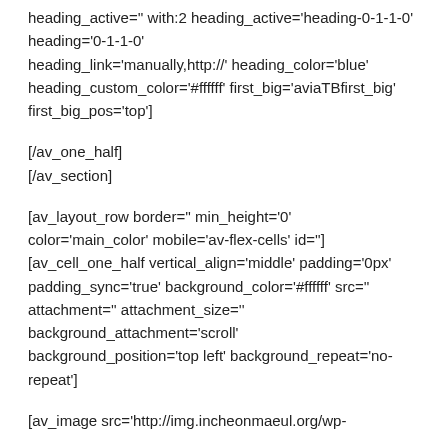heading_active='' with:2 heading_active='heading-0-1-1-0' heading='0-1-1-0' heading_link='manually,http://' heading_color='blue' heading_custom_color='#ffffff' first_big='aviaTBfirst_big' first_big_pos='top']
[/av_one_half]
[/av_section]
[av_layout_row border='' min_height='0' color='main_color' mobile='av-flex-cells' id='']
[av_cell_one_half vertical_align='middle' padding='0px' padding_sync='true' background_color='#ffffff' src='' attachment='' attachment_size='' background_attachment='scroll' background_position='top left' background_repeat='no-repeat']
[av_image src='http://img.incheonmaeul.org/wp-